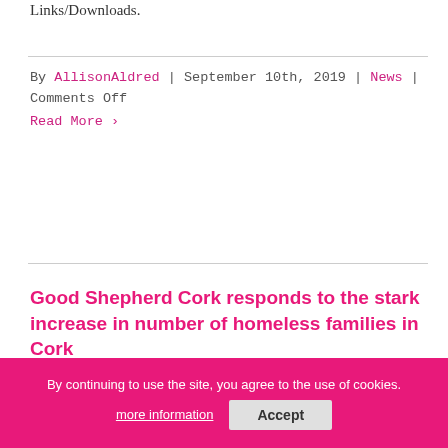Links/Downloads.
By AllisonAldred | September 10th, 2019 | News | Comments Off
Read More >
Good Shepherd Cork responds to the stark increase in number of homeless families in Cork
The most recent figures available from Cork City Council show that in February 2019 the total number of families who were homeless in Cork City and County was 109. This is a stark increase from the who were homeless in April 2018 – an increase of nearly 100% in under a year. The [...]
By continuing to use the site, you agree to the use of cookies. more information Accept